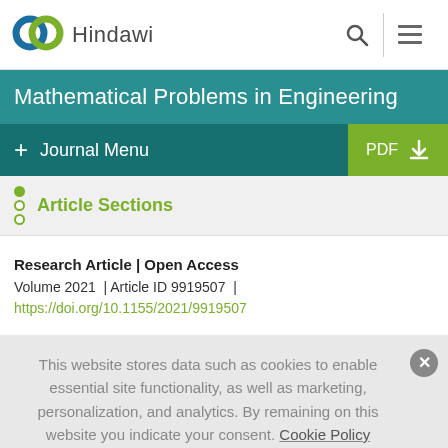[Figure (logo): Hindawi publisher logo with interlinked circles in teal and green, and the text 'Hindawi']
Mathematical Problems in Engineering
+ Journal Menu
Article Sections
Research Article | Open Access
Volume 2021 | Article ID 9919507 |
https://doi.org/10.1155/2021/9919507
This website stores data such as cookies to enable essential site functionality, as well as marketing, personalization, and analytics. By remaining on this website you indicate your consent. Cookie Policy